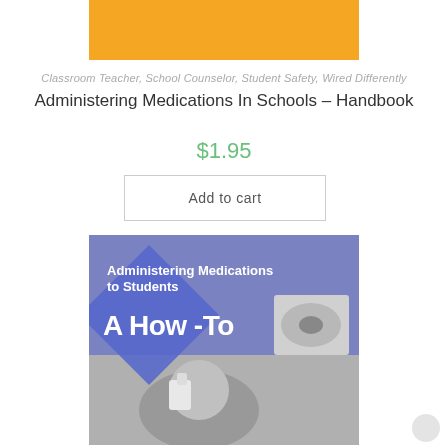[Figure (illustration): Orange/yellow horizontal banner bar at the top center of the page]
Classroom Teacher, School Counselor, Student Safety, Wired Differently
Administering Medications In Schools – Handbook
$1.95
Add to cart
[Figure (photo): Book cover image with purple/blue background, a blue diamond shape, white bold text reading 'Administering Medications to Students A How-To', and grayscale photos of a child using an inhaler and a child receiving eye drops]